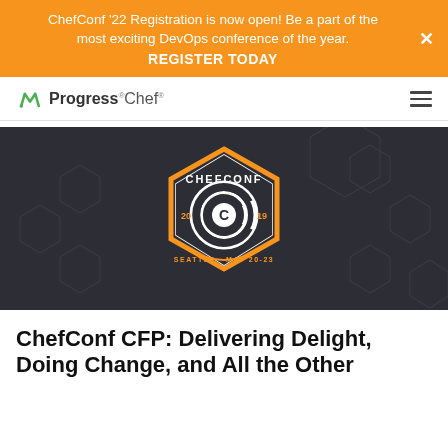ChefConf '22 Registration is now open! Be a part of the most exciting DevOps conference of the year. REGISTER TODAY
[Figure (logo): Progress Chef logo with green arrow icon]
[Figure (illustration): ChefConf 2019 badge/logo on dark hexagonal patterned background. Orange hexagon border with white concentric C logo, text CHEFCONF, 2019, SEATTLE · MAY 20-23]
ChefConf CFP: Delivering Delight, Doing Change, and All the Other